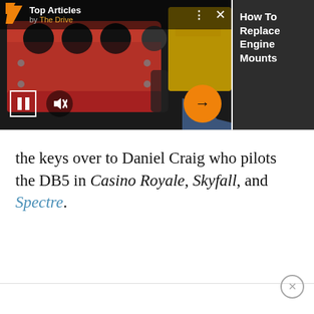[Figure (screenshot): A web video player overlay showing a photo of a red engine block with a dark panel on the right reading 'How To Replace Engine Mounts'. The player has top bar branding 'Top Articles by The Drive', pause/mute controls at bottom left, and an orange arrow button at bottom right of the video.]
the keys over to Daniel Craig who pilots the DB5 in Casino Royale, Skyfall, and Spectre.